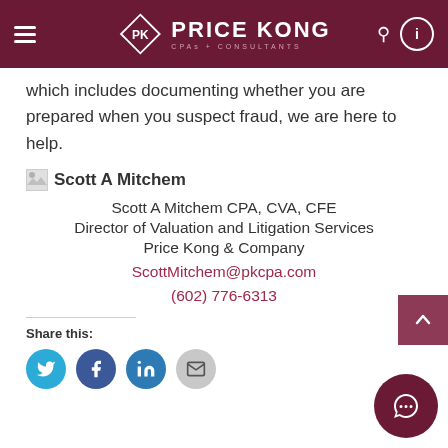Price Kong CPA + Consultants
which includes documenting whether you are prepared when you suspect fraud, we are here to help.
Scott A Mitchem
Scott A Mitchem CPA, CVA, CFE
Director of Valuation and Litigation Services
Price Kong & Company
ScottMitchem@pkcpa.com
(602) 776-6313
Share this: